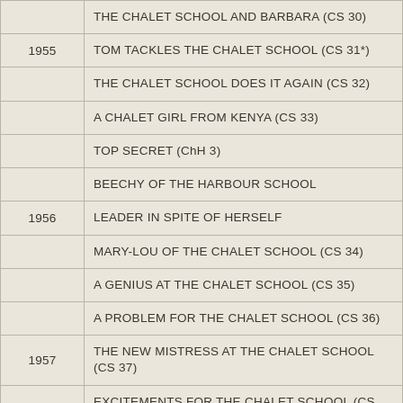| Year | Title |
| --- | --- |
|  | THE CHALET SCHOOL AND BARBARA (CS 30) |
| 1955 | TOM TACKLES THE CHALET SCHOOL (CS 31*) |
|  | THE CHALET SCHOOL DOES IT AGAIN (CS 32) |
|  | A CHALET GIRL FROM KENYA (CS 33) |
|  | TOP SECRET (ChH 3) |
|  | BEECHY OF THE HARBOUR SCHOOL |
| 1956 | LEADER IN SPITE OF HERSELF |
|  | MARY-LOU OF THE CHALET SCHOOL (CS 34) |
|  | A GENIUS AT THE CHALET SCHOOL (CS 35) |
|  | A PROBLEM FOR THE CHALET SCHOOL (CS 36) |
| 1957 | THE NEW MISTRESS AT THE CHALET SCHOOL (CS 37) |
|  | EXCITEMENTS FOR THE CHALET SCHOOL (CS 38) |